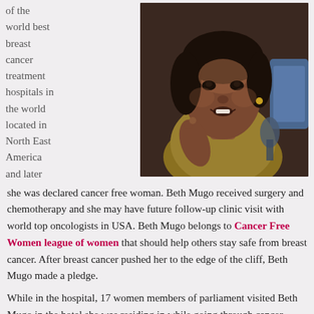of the world best breast cancer treatment hospitals in the world located in North East America and later she was declared cancer free woman.
[Figure (photo): A photo of Beth Mugo, a woman speaking at a podium or press conference, wearing a yellow/gold jacket, with a microphone visible. She appears to be mid-speech.]
she was declared cancer free woman. Beth Mugo received surgery and chemotherapy and she may have future follow-up clinic visit with world top oncologists in USA. Beth Mugo belongs to Cancer Free Women league of women that should help others stay safe from breast cancer. After breast cancer pushed her to the edge of the cliff, Beth Mugo made a pledge.
While in the hospital, 17 women members of parliament visited Beth Mugo in the hotel she was residing in while going through cancer treatment in USA. The gesture was a positive one and millions of Kenyans witnessed true love for their leaders. Beth Mugo and the 17